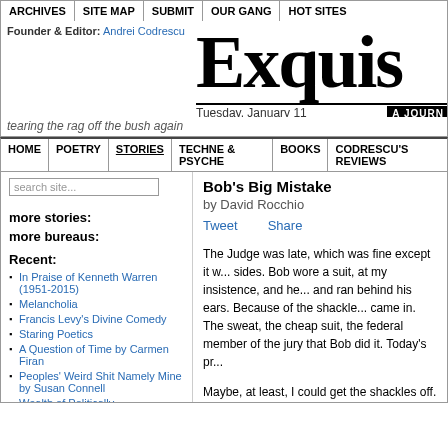ARCHIVES | SITE MAP | SUBMIT | OUR GANG | HOT SITES
Exquis
Founder & Editor: Andrei Codrescu
Tuesday, January 11   A JOURN
tearing the rag off the bush again
HOME | POETRY | STORIES | TECHNE & PSYCHE | BOOKS | CODRESCU'S REVIEWS
Bob's Big Mistake
by David Rocchio
Tweet   Share
The Judge was late, which was fine except it w... sides. Bob wore a suit, at my insistence, and he... and ran behind his ears. Because of the shackle... came in. The sweat, the cheap suit, the federal... member of the jury that Bob did it. Today's pr...
Maybe, at least, I could get the shackles off. B... was in conference, in chambers, and his courtr... and over-heating. Oh well.
more stories:
more bureaus:
Recent:
In Praise of Kenneth Warren (1951-2015)
Melancholia
Francis Levy's Divine Comedy
Staring Poetics
A Question of Time by Carmen Firan
Peoples' Weird Shit Namely Mine by Susan Connell
Wealth of Politically